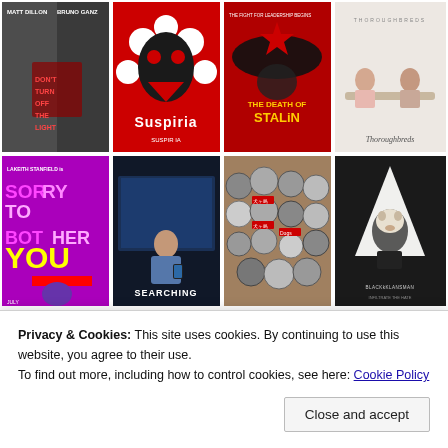[Figure (photo): Grid of 8 movie posters in two rows of four. Top row: a dark thriller with Matt Dillon and Bruno Ganz, Suspiria (red horror poster), The Death of Stalin (red/black political satire poster), Thoroughbreds (light pink poster with two women). Bottom row: Sorry to Bother You (purple/pink with Lakeith Stanfield), Searching (dark thriller with young man on phone), Isle of Dogs (Wes Anderson dogs collage), BlacKkKlansman (KKK hood figure).]
Privacy & Cookies: This site uses cookies. By continuing to use this website, you agree to their use.
To find out more, including how to control cookies, see here: Cookie Policy
Close and accept